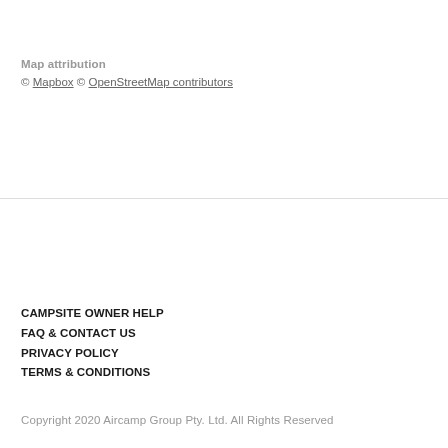Map attribution
© Mapbox © OpenStreetMap contributors
CAMPSITE OWNER HELP
FAQ & CONTACT US
PRIVACY POLICY
TERMS & CONDITIONS
Copyright 2020 Aircamp Group Pty. Ltd. All Rights Reserved